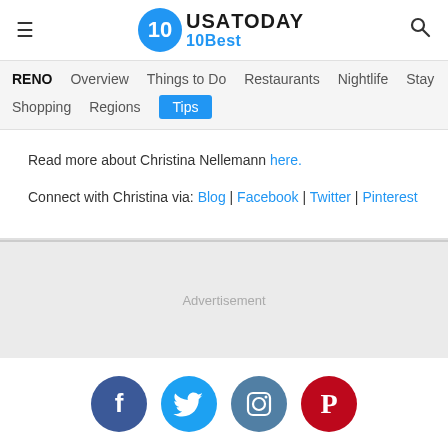USA TODAY 10Best
RENO  Overview  Things to Do  Restaurants  Nightlife  Stay  Shopping  Regions  Tips
Read more about Christina Nellemann here.
Connect with Christina via: Blog | Facebook | Twitter | Pinterest
Advertisement
[Figure (infographic): Social media icon buttons: Facebook (dark blue), Twitter (light blue), Instagram (teal/grey), Pinterest (red)]